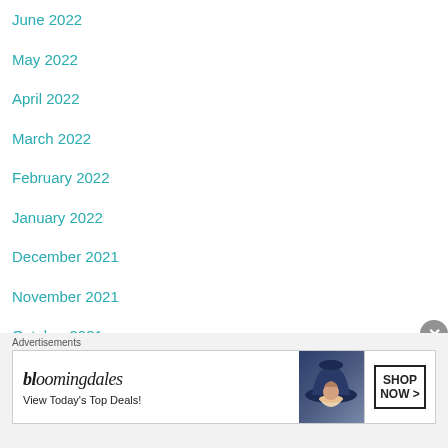June 2022
May 2022
April 2022
March 2022
February 2022
January 2022
December 2021
November 2021
October 2021
September 2021
[Figure (screenshot): Bloomingdale's advertisement banner reading 'View Today's Top Deals!' with a woman in a wide-brim hat and a 'SHOP NOW >' button]
Advertisements